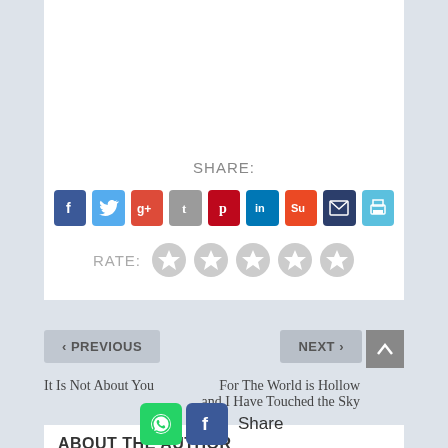SHARE:
[Figure (infographic): Row of 9 social share icon buttons: Facebook (dark blue), Twitter (light blue), Google+ (red), Tumblr (gray), Pinterest (dark red), LinkedIn (blue), StumbleUpon (orange-red), Email (dark navy), Print (light blue)]
RATE:
[Figure (infographic): 5 gray star rating circles]
< PREVIOUS
NEXT >
It Is Not About You
For The World is Hollow and I Have Touched the Sky
ABOUT THE AUTHOR
[Figure (infographic): WhatsApp and Facebook share buttons with 'Share' text label]